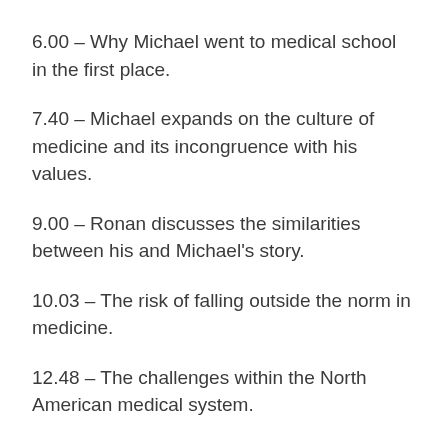6.00 – Why Michael went to medical school in the first place.
7.40 – Michael expands on the culture of medicine and its incongruence with his values.
9.00 – Ronan discusses the similarities between his and Michael's story.
10.03 – The risk of falling outside the norm in medicine.
12.48 – The challenges within the North American medical system.